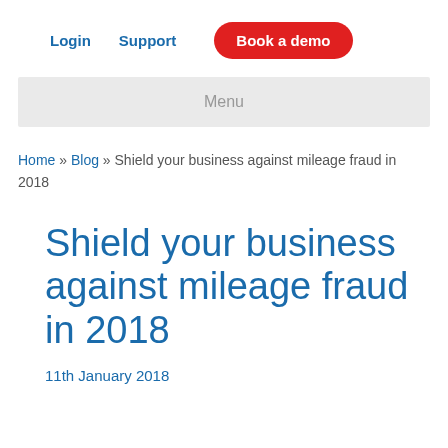Login  Support  Book a demo
Menu
Home » Blog » Shield your business against mileage fraud in 2018
Shield your business against mileage fraud in 2018
11th January 2018